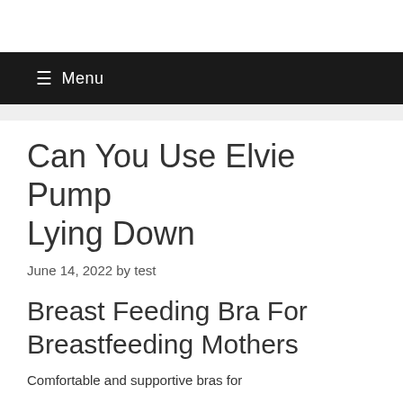☰ Menu
Can You Use Elvie Pump Lying Down
June 14, 2022 by test
Breast Feeding Bra For Breastfeeding Mothers
Comfortable and supportive bras for